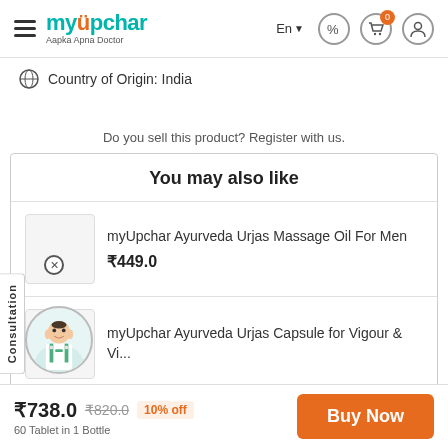myUpchar — Aapka Apna Doctor | En | Country of Origin: India
Country of Origin: India
Do you sell this product? Register with us.
You may also like
myUpchar Ayurveda Urjas Massage Oil For Men
₹449.0
myUpchar Ayurveda Urjas Capsule for Vigour & Vi...
₹738.0  ₹820.0  10% off
60 Tablet in 1 Bottle